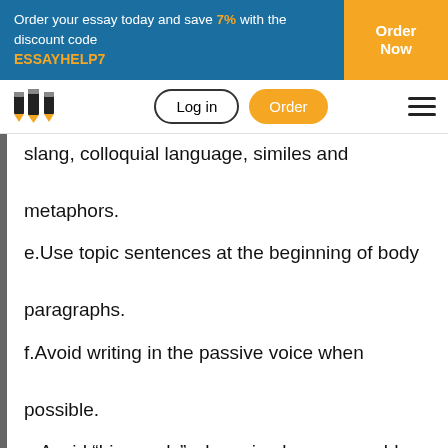Order your essay today and save 7% with the discount code ESSAYHELP7 | Order Now
slang, colloquial language, similes and metaphors.
e.Use topic sentences at the beginning of body paragraphs.
f.Avoid writing in the passive voice when possible.
g.Avoid “big words” when simple ones would suffice.